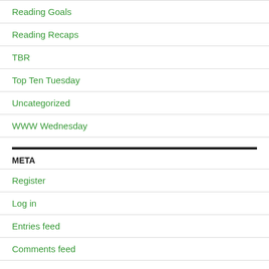Reading Goals
Reading Recaps
TBR
Top Ten Tuesday
Uncategorized
WWW Wednesday
META
Register
Log in
Entries feed
Comments feed